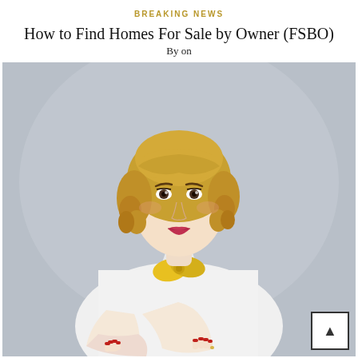BREAKING NEWS
How to Find Homes For Sale by Owner (FSBO)
By on
[Figure (photo): Professional woman with curly blonde hair wearing a white blouse and yellow bow tie, arms crossed, posing against a gray background]